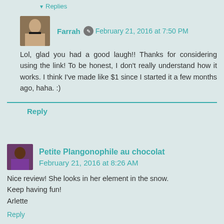▾ Replies
Farrah · February 21, 2016 at 7:50 PM
Lol, glad you had a good laugh!! Thanks for considering using the link! To be honest, I don't really understand how it works. I think I've made like $1 since I started it a few months ago, haha. :)
Reply
Petite Plangonophile au chocolat February 21, 2016 at 8:26 AM
Nice review! She looks in her element in the snow.
Keep having fun!
Arlette
Reply
▾ Replies